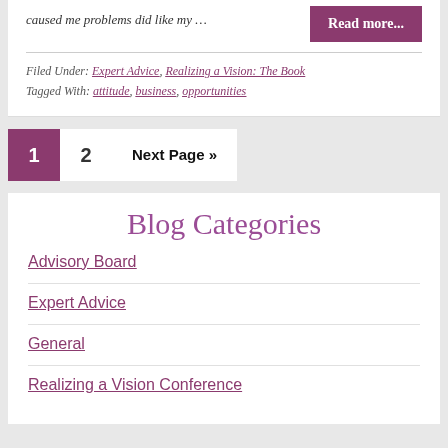caused me problems did like my …
Read more...
Filed Under: Expert Advice, Realizing a Vision: The Book
Tagged With: attitude, business, opportunities
1  2  Next Page »
Blog Categories
Advisory Board
Expert Advice
General
Realizing a Vision Conference